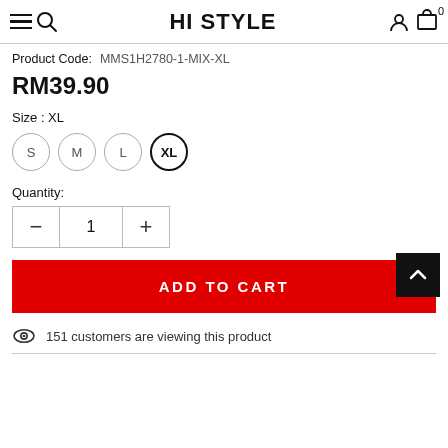HI STYLE
Product Code: MMS1H2780-1-MIX-XL
RM39.90
Size : XL
S  M  L  XL
Quantity:
1
ADD TO CART
151 customers are viewing this product